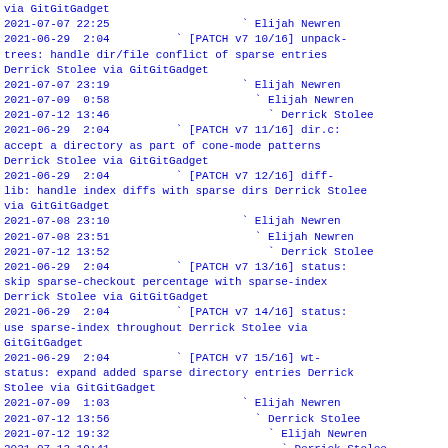via GitGitGadget
2021-07-07 22:25                    ` Elijah Newren
2021-06-29  2:04          ` [PATCH v7 10/16] unpack-trees: handle dir/file conflict of sparse entries Derrick Stolee via GitGitGadget
2021-07-07 23:19                    ` Elijah Newren
2021-07-09  0:58                      ` Elijah Newren
2021-07-12 13:46                        ` Derrick Stolee
2021-06-29  2:04          ` [PATCH v7 11/16] dir.c: accept a directory as part of cone-mode patterns Derrick Stolee via GitGitGadget
2021-06-29  2:04          ` [PATCH v7 12/16] diff-lib: handle index diffs with sparse dirs Derrick Stolee via GitGitGadget
2021-07-08 23:10                    ` Elijah Newren
2021-07-08 23:51                      ` Elijah Newren
2021-07-12 13:52                        ` Derrick Stolee
2021-06-29  2:04          ` [PATCH v7 13/16] status: skip sparse-checkout percentage with sparse-index Derrick Stolee via GitGitGadget
2021-06-29  2:04          ` [PATCH v7 14/16] status: use sparse-index throughout Derrick Stolee via GitGitGadget
2021-06-29  2:04          ` [PATCH v7 15/16] wt-status: expand added sparse directory entries Derrick Stolee via GitGitGadget
2021-07-09  1:03                    ` Elijah Newren
2021-07-12 13:56                      ` Derrick Stolee
2021-07-12 19:32                        ` Elijah Newren
2021-07-12 19:41                          ` Derrick Stolee